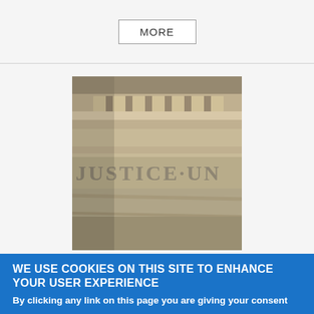MORE
[Figure (photo): Close-up photograph of stone facade of a building with the words 'JUSTICE UN' inscribed, showing architectural details with decorative molding]
WASTE IS...WELL, JUST A WASTE!
WE USE COOKIES ON THIS SITE TO ENHANCE YOUR USER EXPERIENCE
By clicking any link on this page you are giving your consent